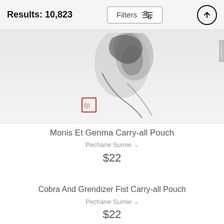Results: 10,823
[Figure (photo): Partial product image of carry-all pouch featuring Japanese ink painting style artwork with a figure and a red seal stamp on a light grey/white background]
Monis Et Genma Carry-all Pouch
Pechane Sumie
$22
Cobra And Grendizer Fist Carry-all Pouch
Pechane Sumie
$22